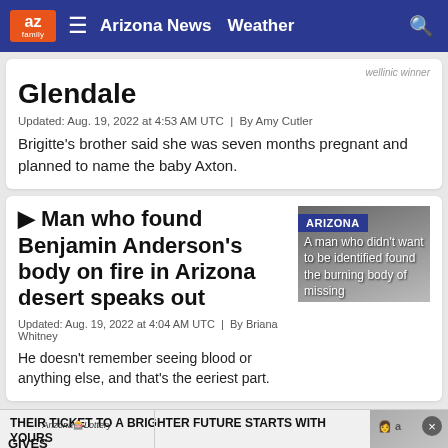az family | Arizona News | Weather
Glendale
Updated: Aug. 19, 2022 at 4:53 AM UTC  |  By Amy Cutler
Brigitte's brother said she was seven months pregnant and planned to name the baby Axton.
Man who found Benjamin Anderson's body on fire in Arizona desert speaks out
[Figure (photo): Arizona-branded photo thumbnail with text overlay reading: A man who didn't want to be identified found the burning body of missing]
Updated: Aug. 19, 2022 at 4:04 AM UTC  |  By Briana Whitney
He doesn't remember seeing blood or anything else, and that's the eeriest part.
[Figure (infographic): Arizona Lottery advertisement: GIVES BACK - THEIR TICKET TO A BRIGHTER FUTURE STARTS WITH YOURS - LEARN MORE]